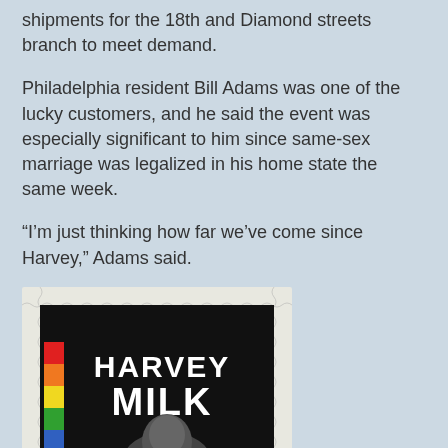shipments for the 18th and Diamond streets branch to meet demand.
Philadelphia resident Bill Adams was one of the lucky customers, and he said the event was especially significant to him since same-sex marriage was legalized in his home state the same week.
“I’m just thinking how far we’ve come since Harvey,” Adams said.
[Figure (photo): Harvey Milk commemorative US postage stamp with rainbow stripe on left side and portrait photo of Harvey Milk in black and white, with 'HARVEY MILK' text in white on black background]